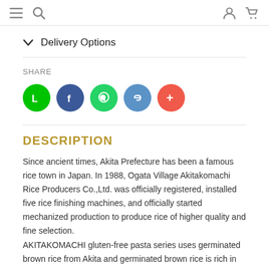Navigation header with menu, search, user, and cart icons
▼ Delivery Options
SHARE
[Figure (other): Social share buttons: LINE (green), Facebook (dark blue), WhatsApp (green), Link (blue), More (red/orange)]
DESCRIPTION
Since ancient times, Akita Prefecture has been a famous rice town in Japan. In 1988, Ogata Village Akitakomachi Rice Producers Co.,Ltd. was officially registered, installed five rice finishing machines, and officially started mechanized production to produce rice of higher quality and fine selection.
AKITAKOMACHI gluten-free pasta series uses germinated brown rice from Akita and germinated brown rice is rich in